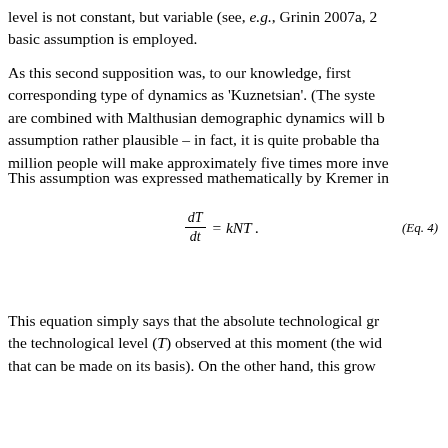level is not constant, but variable (see, e.g., Grinin 2007a, 2... basic assumption is employed.
As this second supposition was, to our knowledge, first... corresponding type of dynamics as 'Kuznetsian'. (The syste... are combined with Malthusian demographic dynamics will b... assumption rather plausible – in fact, it is quite probable tha... million people will make approximately five times more inve...
This assumption was expressed mathematically by Kremer in...
This equation simply says that the absolute technological gr... the technological level (T) observed at this moment (the wid... that can be made on its basis). On the other hand, this grow...